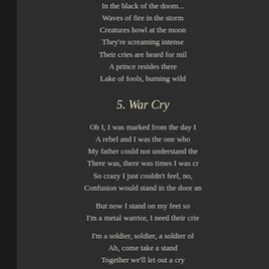In the black of the doom...
Waves of fire in the storm
Creatures howl at the moon
They're screaming intense
Their cries are heard for mil
A prince resides there
Lake of fools, burning wild
5. War Cry
Oh I, I was marked from the day I
A rebel and I was the one who
My father could not understand the
There was, there was times I was cr
So crazy I just couldn't feel, no,
Confusion would stand in the door an
But now I stand on my feet so
I'm a metal warrior, I need their crie
I'm a soldier, soldier, a soldier of
Ah, come take a stand
Together we'll let out a cry
I'm a soldier, soldier, a soldier of
Ah, come take a stand
Together we'll never say di
Oh I, I did not choose, the music c